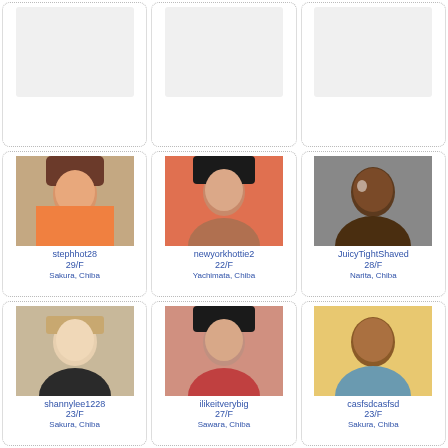[Figure (photo): Empty profile card, top-left]
[Figure (photo): Empty profile card, top-center]
[Figure (photo): Empty profile card, top-right]
[Figure (photo): Profile photo of stephhot28]
stephhot28
29/F
Sakura, Chiba
[Figure (photo): Profile photo of newyorkhottie2]
newyorkhottie2
22/F
Yachimata, Chiba
[Figure (photo): Profile photo of JuicyTightShaved]
JuicyTightShaved
28/F
Narita, Chiba
[Figure (photo): Profile photo of shannylee1228]
shannylee1228
23/F
Sakura, Chiba
[Figure (photo): Profile photo of ilikeitverybig]
ilikeitverybig
27/F
Sawara, Chiba
[Figure (photo): Profile photo of casfsdcasfsd]
casfsdcasfsd
23/F
Sakura, Chiba